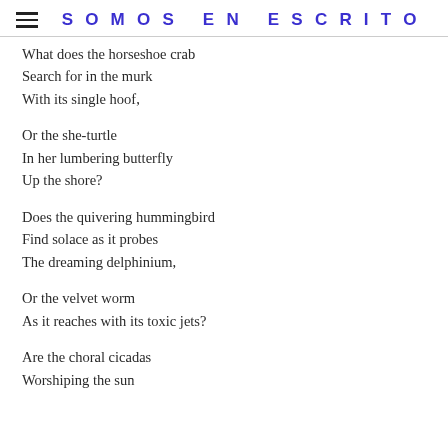SOMOS EN ESCRITO
What does the horseshoe crab
Search for in the murk
With its single hoof,
Or the she-turtle
In her lumbering butterfly
Up the shore?
Does the quivering hummingbird
Find solace as it probes
The dreaming delphinium,
Or the velvet worm
As it reaches with its toxic jets?
Are the choral cicadas
Worshiping the sun